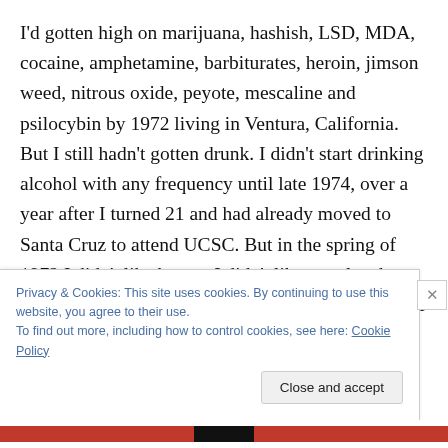I'd gotten high on marijuana, hashish, LSD, MDA, cocaine, amphetamine, barbiturates, heroin, jimson weed, nitrous oxide, peyote, mescaline and psilocybin by 1972 living in Ventura, California. But I still hadn't gotten drunk. I didn't start drinking alcohol with any frequency until late 1974, over a year after I turned 21 and had already moved to Santa Cruz to attend UCSC. But in the spring of 1972 I didn't like booze. I didn't like people who drank instead of getting stoned, and I hated loud bar scenes. So I was jealous and miffed when a friend regaled me with the news
Privacy & Cookies: This site uses cookies. By continuing to use this website, you agree to their use. To find out more, including how to control cookies, see here: Cookie Policy
Close and accept